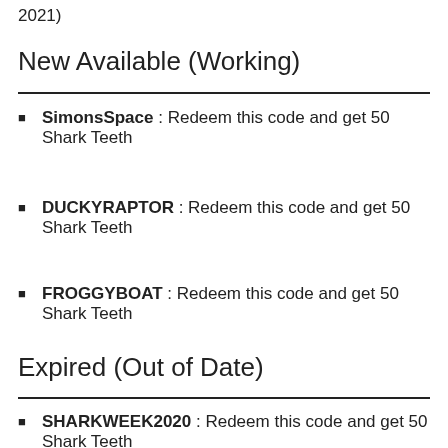2021)
New Available (Working)
SimonsSpace : Redeem this code and get 50 Shark Teeth
DUCKYRAPTOR : Redeem this code and get 50 Shark Teeth
FROGGYBOAT : Redeem this code and get 50 Shark Teeth
Expired (Out of Date)
SHARKWEEK2020 : Redeem this code and get 50 Shark Teeth